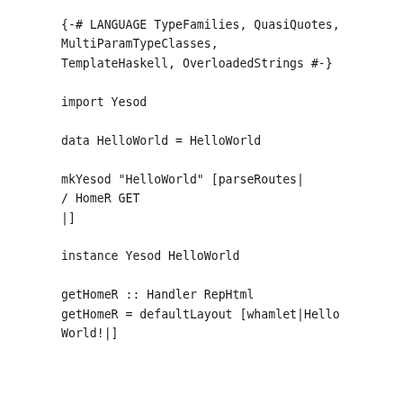{-# LANGUAGE TypeFamilies, QuasiQuotes, MultiParamTypeClasses, TemplateHaskell, OverloadedStrings #-}

import Yesod

data HelloWorld = HelloWorld

mkYesod "HelloWorld" [parseRoutes|
/ HomeR GET
|]

instance Yesod HelloWorld

getHomeR :: Handler RepHtml
getHomeR = defaultLayout [whamlet|Hello World!|]